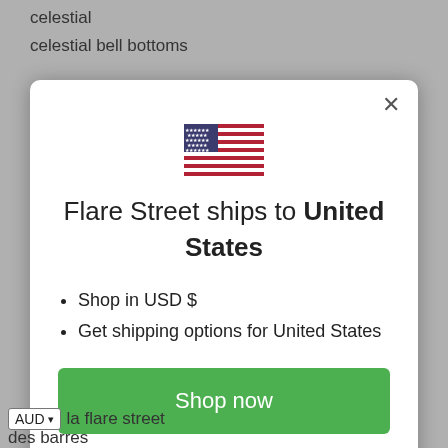celestial
celestial bell bottoms
[Figure (screenshot): Modal dialog with US flag, title 'Flare Street ships to United States', bullet points, green Shop now button, and Change shipping country link]
AUD ▾ la flare street
des barres